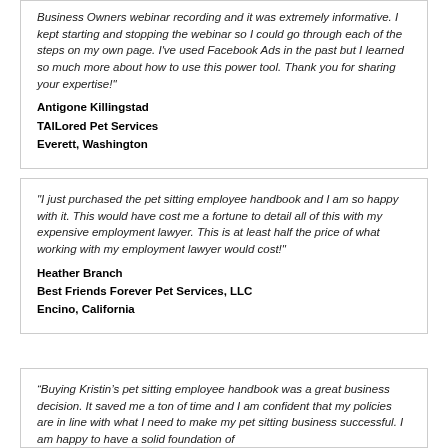Business Owners webinar recording and it was extremely informative. I kept starting and stopping the webinar so I could go through each of the steps on my own page. I've used Facebook Ads in the past but I learned so much more about how to use this power tool. Thank you for sharing your expertise!"
Antigone Killingstad
TAILored Pet Services
Everett, Washington
"I just purchased the pet sitting employee handbook and I am so happy with it. This would have cost me a fortune to detail all of this with my expensive employment lawyer. This is at least half the price of what working with my employment lawyer would cost!"
Heather Branch
Best Friends Forever Pet Services, LLC
Encino, California
“Buying Kristin’s pet sitting employee handbook was a great business decision. It saved me a ton of time and I am confident that my policies  are in line with what I need to make my pet sitting business successful. I am happy to have a solid foundation of